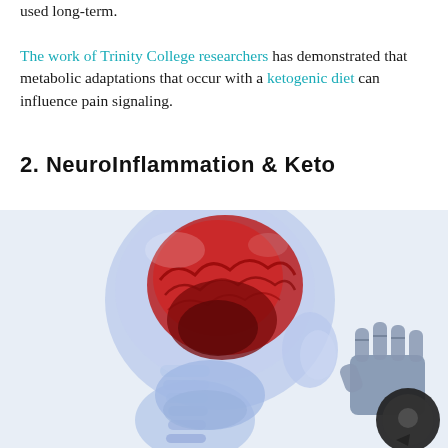used long-term. The work of Trinity College researchers has demonstrated that metabolic adaptations that occur with a ketogenic diet can influence pain signaling.
2. NeuroInflammation & Keto
[Figure (photo): Medical illustration showing an x-ray style translucent view of a human head and neck with the brain highlighted in red/pink tones against a blue skeletal and tissue structure. A robotic or mechanical hand appears on the right side. A circular chat/comment icon is visible in the lower right corner.]